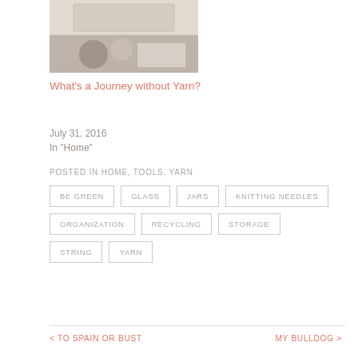[Figure (photo): Two stacked blog post thumbnail images showing yarn/crafting scene]
What's a Journey without Yarn?
July 31, 2016
In "Home"
POSTED IN HOME, TOOLS, YARN
BE GREEN
GLASS
JARS
KNITTING NEEDLES
ORGANIZATION
RECYCLING
STORAGE
STRING
YARN
< TO SPAIN OR BUST   MY BULLDOG >